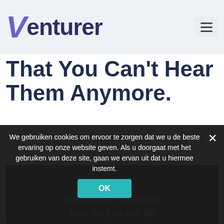Venturer
That You Can't Hear Them Anymore.
[Figure (photo): Dark background image with serif white text reading 'if people are doubting how far you can go']
We gebruiken cookies om ervoor te zorgen dat we u de beste ervaring op onze website geven. Als u doorgaat met het gebruiken van deze site, gaan we ervan uit dat u hiermee instemt.
OK